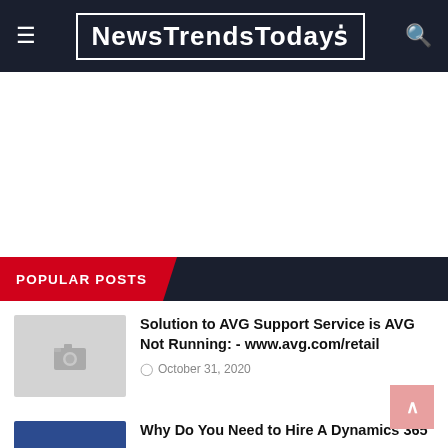NewsTrendsTodays
[Figure (other): Advertisement / blank white space]
POPULAR POSTS
[Figure (photo): Placeholder thumbnail image (grey with camera icon)]
Solution to AVG Support Service is AVG Not Running: - www.avg.com/retail
October 31, 2020
[Figure (photo): Placeholder thumbnail image (dark blue rectangle)]
Why Do You Need to Hire A Dynamics 365